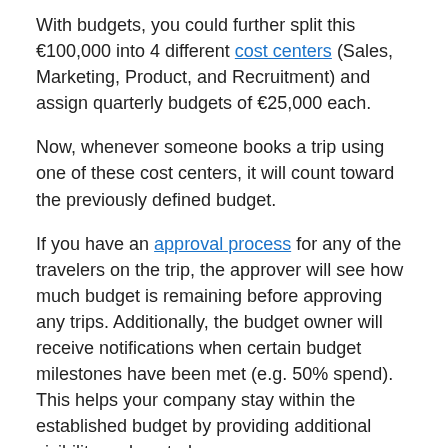With budgets, you could further split this €100,000 into 4 different cost centers (Sales, Marketing, Product, and Recruitment) and assign quarterly budgets of €25,000 each.
Now, whenever someone books a trip using one of these cost centers, it will count toward the previously defined budget.
If you have an approval process for any of the travelers on the trip, the approver will see how much budget is remaining before approving any trips. Additionally, the budget owner will receive notifications when certain budget milestones have been met (e.g. 50% spend). This helps your company stay within the established budget by providing additional visibility and control.